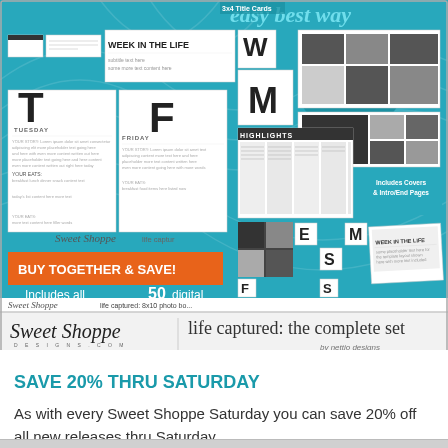[Figure (illustration): Product advertisement for 'life captured: the complete set' by nettio designs, sold on Sweet Shoppe Designs. Shows digital scrapbooking templates including Week in the Life journal pages, photo book page templates, highlights pages. Orange banner reads 'BUY TOGETHER & SAVE!' Text says 'Includes all 50 digital scrapbooking & hybrid templates in PSD format'. Bottom brand bar with Sweet Shoppe Designs logo and product title 'life captured: the complete set by nettio designs'.]
SAVE 20% THRU SATURDAY
As with every Sweet Shoppe Saturday you can save 20% off all new releases thru Saturday....